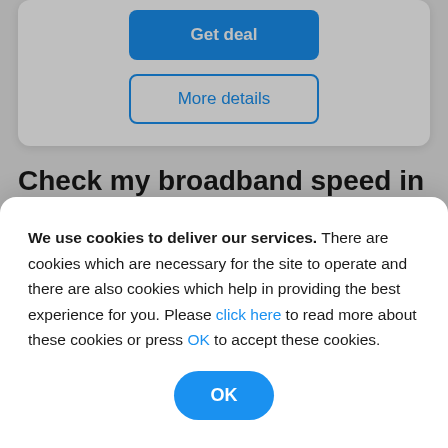[Figure (screenshot): Blue 'Get deal' button and outlined 'More details' button centered in a white card]
Check my broadband speed in York
We use cookies to deliver our services. There are cookies which are necessary for the site to operate and there are also cookies which help in providing the best experience for you. Please click here to read more about these cookies or press OK to accept these cookies.